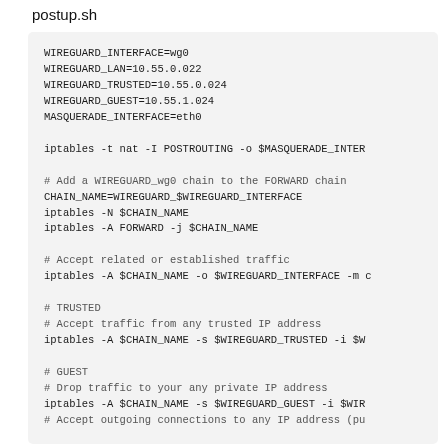postup.sh
WIREGUARD_INTERFACE=wg0
WIREGUARD_LAN=10.55.0.022
WIREGUARD_TRUSTED=10.55.0.024
WIREGUARD_GUEST=10.55.1.024
MASQUERADE_INTERFACE=eth0

iptables -t nat -I POSTROUTING -o $MASQUERADE_INTER

# Add a WIREGUARD_wg0 chain to the FORWARD chain
CHAIN_NAME=WIREGUARD_$WIREGUARD_INTERFACE
iptables -N $CHAIN_NAME
iptables -A FORWARD -j $CHAIN_NAME

# Accept related or established traffic
iptables -A $CHAIN_NAME -o $WIREGUARD_INTERFACE -m c

# TRUSTED
# Accept traffic from any trusted IP address
iptables -A $CHAIN_NAME -s $WIREGUARD_TRUSTED -i $W

# GUEST
# Drop traffic to your any private IP address
iptables -A $CHAIN_NAME -s $WIREGUARD_GUEST -i $WIR
# Accept outgoing connections to any IP address (pu